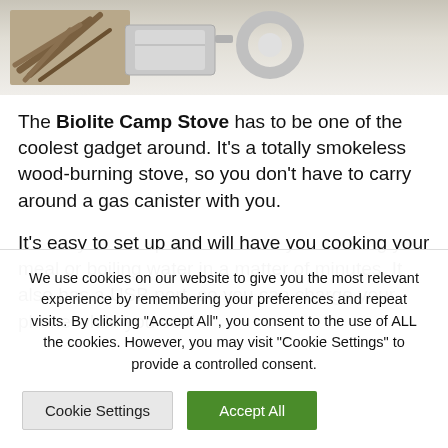[Figure (photo): Partial photo of Biolite Camp Stove showing twigs/sticks on left and metal stove components on right against white/light background]
The Biolite Camp Stove has to be one of the coolest gadget around. It's a totally smokeless wood-burning stove, so you don't have to carry around a gas canister with you.
It's easy to set up and will have you cooking your meal or boiling water in a matter of minutes. It also has a USB port, so you can charge your phone while you cook.
We use cookies on our website to give you the most relevant experience by remembering your preferences and repeat visits. By clicking "Accept All", you consent to the use of ALL the cookies. However, you may visit "Cookie Settings" to provide a controlled consent.